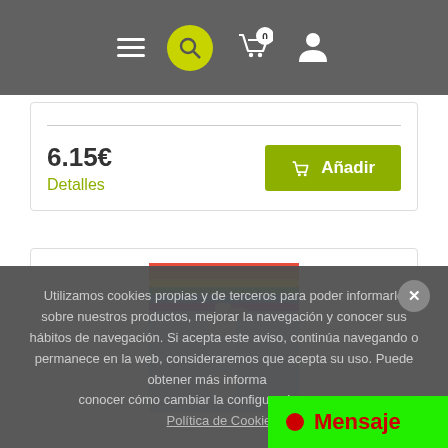Navigation bar with hamburger menu, search, cart (0), user icon
6.15€
Detalles
Añadir
[Figure (photo): Product image showing a spray bottle with colorful rainbow packaging]
Utilizamos cookies propias y de terceros para poder informarle sobre nuestros productos, mejorar la navegación y conocer sus hábitos de navegación. Si acepta este aviso, continúa navegando o permanece en la web, consideraremos que acepta su uso. Puede obtener más información y conocer cómo cambiar la configuración en nuestra Política de Cookies.
Mensaje